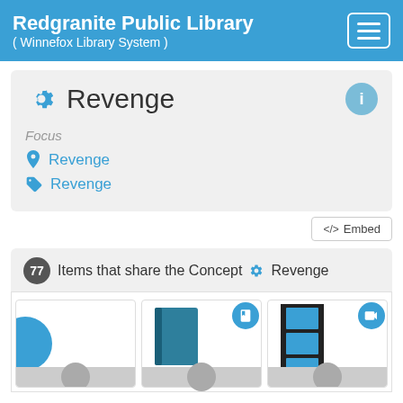Redgranite Public Library ( Winnefox Library System )
Revenge
Focus
Revenge
Revenge
</> Embed
77 Items that share the Concept ⚙ Revenge
[Figure (screenshot): Three item cards showing library catalog items related to Revenge: a partially visible blue circle card on left, a book icon card in center, and a video icon card on right]